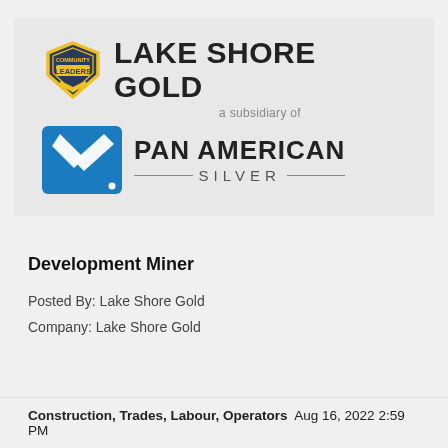[Figure (logo): Lake Shore Gold logo with Community Leaders badge and Pan American Silver subsidiary logo]
Development Miner
Posted By: Lake Shore Gold
Company: Lake Shore Gold
Construction, Trades, Labour, Operators  Aug 16, 2022 2:59 PM